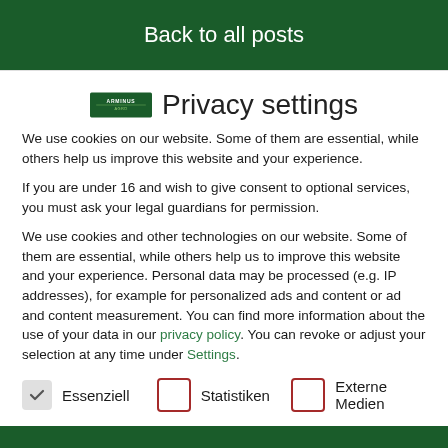Back to all posts
Privacy settings
We use cookies on our website. Some of them are essential, while others help us improve this website and your experience.
If you are under 16 and wish to give consent to optional services, you must ask your legal guardians for permission.
We use cookies and other technologies on our website. Some of them are essential, while others help us to improve this website and your experience. Personal data may be processed (e.g. IP addresses), for example for personalized ads and content or ad and content measurement. You can find more information about the use of your data in our privacy policy. You can revoke or adjust your selection at any time under Settings.
Essenziell
Statistiken
Externe Medien